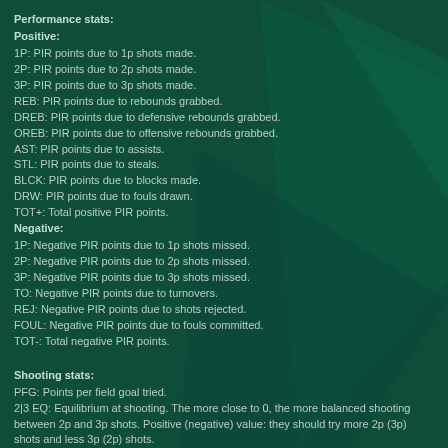Performance stats:
Positive:
1P: PIR points due to 1p shots made.
2P: PIR points due to 2p shots made.
3P: PIR points due to 3p shots made.
REB: PIR points due to rebounds grabbed.
DREB: PIR points due to defensive rebounds grabbed.
OREB: PIR points due to offensive rebounds grabbed.
AST: PIR points due to assists.
STL: PIR points due to steals.
BLCK: PIR points due to blocks made.
DRW: PIR points due to fouls drawn.
TOT+: Total positive PIR points.
Negative:
1P: Negative PIR points due to 1p shots missed.
2P: Negative PIR points due to 2p shots missed.
3P: Negative PIR points due to 3p shots missed.
TO: Negative PIR points due to turnovers.
REJ: Negative PIR points due to shots rejected.
FOUL: Negative PIR points due to fouls committed.
TOT-: Total negative PIR points.
Shooting stats:
PFG: Points per field goal tried.
2|3 EQ: Equilibrium at shooting. The more close to 0, the more balanced shooting between 2p and 3p shots. Positive (negative) value: they should try more 2p (3p) shots and less 3p (2p) shots.